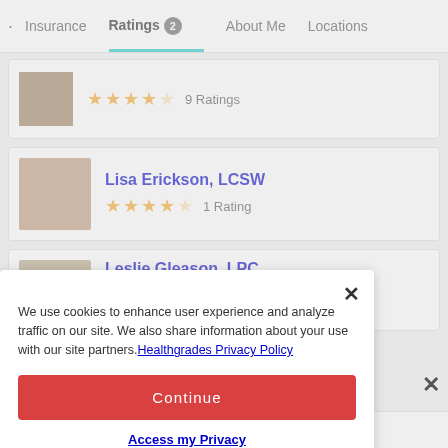· Insurance  Ratings 2  About Me  Locations
9 Ratings
Lisa Erickson, LCSW — 1 Rating
Leslie Gleason, LPC
We use cookies to enhance user experience and analyze traffic on our site. We also share information about your use with our site partners. Healthgrades Privacy Policy
Continue
Access my Privacy Preferences
Stacy Braluca, MSW